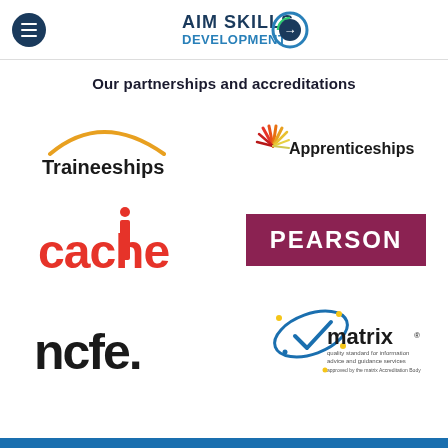[Figure (logo): AIM Skills Development logo with hamburger menu icon in top navigation bar]
Our partnerships and accreditations
[Figure (logo): Traineeships logo with orange arc above text]
[Figure (logo): Apprenticeships logo with red/orange flame/wing graphic]
[Figure (logo): cache logo in red with stylized i]
[Figure (logo): PEARSON logo in white on dark red/maroon background]
[Figure (logo): ncfe. logo in bold black]
[Figure (logo): matrix logo with blue oval and checkmark, quality standard for information advice and guidance services]